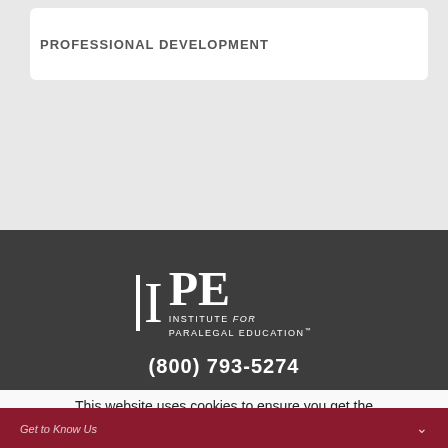PROFESSIONAL DEVELOPMENT
[Figure (logo): IPE Institute for Paralegal Education logo in white on dark background]
(800) 793-5274
Get to Know Us
This website uses cookies to ensure you get the best experience. We use this information in order